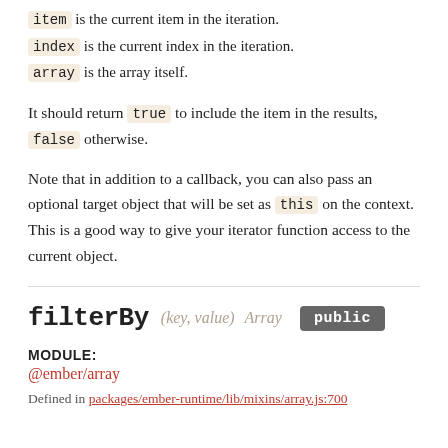item is the current item in the iteration.
index is the current index in the iteration.
array is the array itself.
It should return true to include the item in the results, false otherwise.
Note that in addition to a callback, you can also pass an optional target object that will be set as this on the context. This is a good way to give your iterator function access to the current object.
filterBy (key, value) Array public
MODULE:
@ember/array
Defined in packages/ember-runtime/lib/mixins/array.js:700